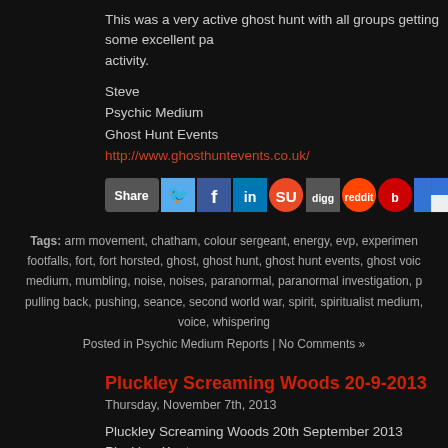This was a very active ghost hunt with all groups getting some excellent pa... activity.
Steve
Psychic Medium
Ghost Hunt Events
http://www.ghosthuntevents.co.uk/
[Figure (infographic): Share bar with social media icons: Share button, Twitter, Facebook, LinkedIn, StumbleUpon, Digg, Reddit, Bebo, Delicious]
Tags: arm movement, chatham, colour sergeant, energy, evp, experiment, footfalls, fort, fort horsted, ghost, ghost hunt, ghost hunt events, ghost voice, medium, mumbling, noise, noises, paranormal, paranormal investigation, pulling back, pushing, seance, second world war, spirit, spiritualist medium, voice, whispering
Posted in Psychic Medium Reports | No Comments »
Pluckley Screaming Woods 20-9-2013
Thursday, November 7th, 2013
Pluckley Screaming Woods 20th September 2013
Pluckley, Kent
Normally we don't write reports from our private events, however this partic... was too good not to write a report as the level of paranormal activity fol...